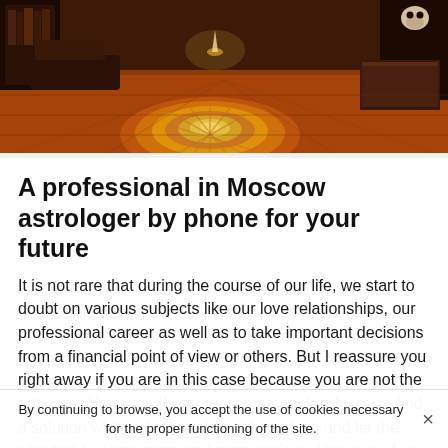[Figure (illustration): A mystical room with a large zodiac/astrology circle on an orange and red patterned floor, dark wooden furniture, bookshelves, and a skull visible in the upper right corner. Warm orange and brown tones dominate.]
A professional in Moscow astrologer by phone for your future
It is not rare that during the course of our life, we start to doubt on various subjects like our love relationships, our professional career as well as to take important decisions from a financial point of view or others. But I reassure you right away if you are in this case because you are not the only one. However, there are some people who try to find a solution while others prefer to do nothing and let the situation become more and more serious. However, if you
By continuing to browse, you accept the use of cookies necessary for the proper functioning of the site.